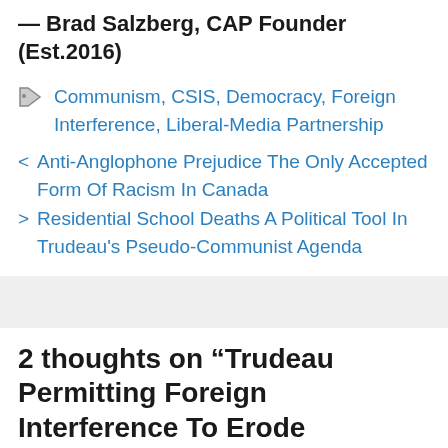— Brad Salzberg, CAP Founder (Est.2016)
Tags: Communism, CSIS, Democracy, Foreign Interference, Liberal-Media Partnership
< Anti-Anglophone Prejudice The Only Accepted Form Of Racism In Canada
> Residential School Deaths A Political Tool In Trudeau's Pseudo-Communist Agenda
2 thoughts on “Trudeau Permitting Foreign Interference To Erode Democracy In Canada Says